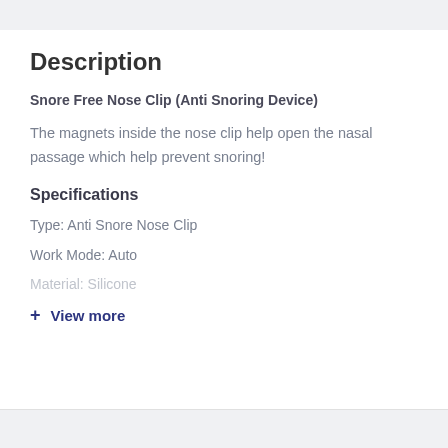Description
Snore Free Nose Clip (Anti Snoring Device)
The magnets inside the nose clip help open the nasal passage which help prevent snoring!
Specifications
Type: Anti Snore Nose Clip
Work Mode: Auto
Material: Silicone
+ View more